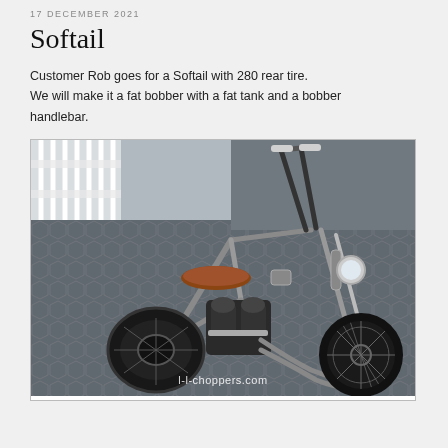17 DECEMBER 2021
Softail
Customer Rob goes for a Softail with 280 rear tire. We will make it a fat bobber with a fat tank and a bobber handlebar.
[Figure (photo): A custom bobber-style motorcycle (Softail with 280 rear tire) photographed on a hexagonal paving stone surface. The bike features tall ape-hanger handlebars, a brown leather solo seat, a wide rear tire, spoke front wheel, exposed V-twin engine, chrome exhaust pipes, and springer-style front forks. Watermark 'l-l-choppers.com' visible at bottom center.]